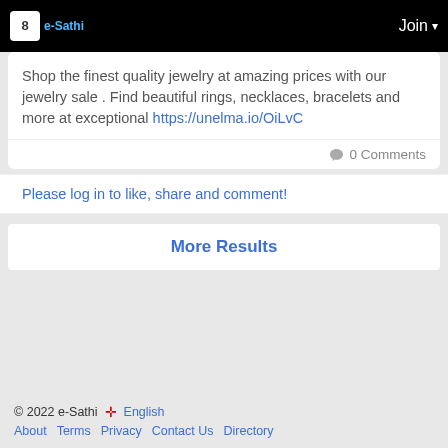e-Sathi   Join
Shop the finest quality jewelry at amazing prices with our jewelry sale . Find beautiful rings, necklaces, bracelets and more at exceptional https://unelma.io/OiLvC
0 Comments
Please log in to like, share and comment!
More Results
© 2022 e-Sathi  English  About  Terms  Privacy  Contact Us  Directory